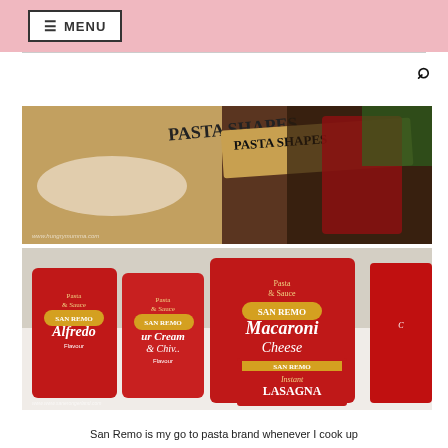≡ MENU
[Figure (photo): Pasta shapes product bag with text PASTA SHAPES visible, on a kitchen counter with various pasta varieties visible]
[Figure (photo): Multiple San Remo pasta products including Pasta & Sauce bags (Alfredo, Sour Cream & Chives flavours, Macaroni Cheese flavour) and an Instant Lasagna box displayed on a white surface]
San Remo is my go to pasta brand whenever I cook up